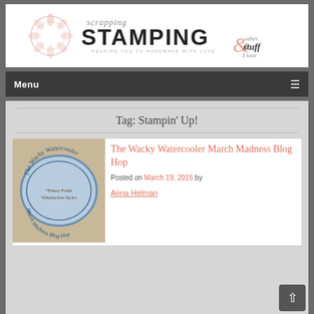[Figure (logo): Scrapping Stamping & other stuff I love blog logo with decorative text]
Menu
Tag: Stampin' Up!
[Figure (photo): The Wacky Watercooler March Madness Blog Hop badge/logo image]
The Wacky Watercooler March Madness Blog Hop
Posted on March 19, 2015 by Anna Helman